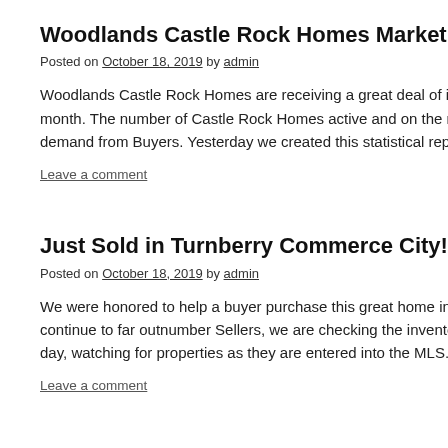Woodlands Castle Rock Homes Market U
Posted on October 18, 2019 by admin
Woodlands Castle Rock Homes are receiving a great deal of inte month. The number of Castle Rock Homes active and on the ma demand from Buyers. Yesterday we created this statistical repor
Leave a comment
Just Sold in Turnberry Commerce City!
Posted on October 18, 2019 by admin
We were honored to help a buyer purchase this great home in Tu continue to far outnumber Sellers, we are checking the inventor day, watching for properties as they are entered into the MLS. Y
Leave a comment